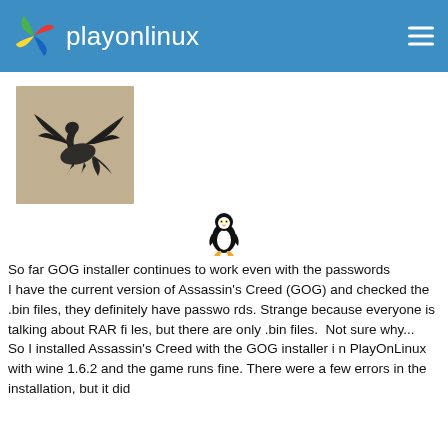playonlinux
[Figure (photo): A dark illustration or photo showing a dragon with spread wings against a light background, used as a user avatar.]
[Figure (illustration): Linux penguin (Tux) icon in black and white line art.]
So far GOG installer continues to work even with the passwords
I have the current version of Assassin's Creed (GOG) and checked the .bin files, they definitely have passwords. Strange because everyone is talking about RAR files, but there are only .bin files.  Not sure why...
So I installed Assassin's Creed with the GOG installer in PlayOnLinux with wine 1.6.2 and the game runs fine. There were a few errors in the installation, but it did